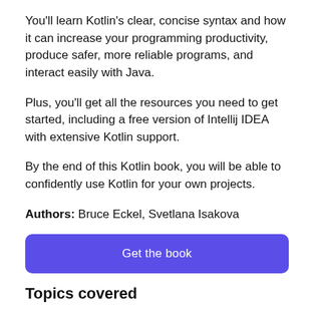You'll learn Kotlin's clear, concise syntax and how it can increase your programming productivity, produce safer, more reliable programs, and interact easily with Java.
Plus, you'll get all the resources you need to get started, including a free version of Intellij IDEA with extensive Kotlin support.
By the end of this Kotlin book, you will be able to confidently use Kotlin for your own projects.
Authors: Bruce Eckel, Svetlana Isakova
[Figure (other): A large purple rounded button with white text reading 'Get the book']
Topics covered